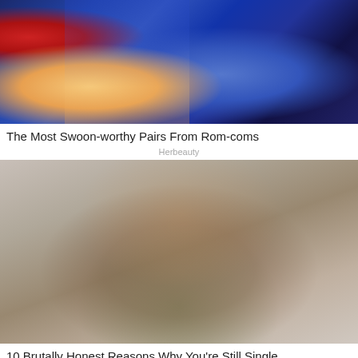[Figure (photo): Two people sitting on a couch in a TV studio setting. A woman in a blue dress with blonde hair on the left, and a man in a blue shirt on the right. Red marquee lights visible on the left side. Dark blue background.]
The Most Swoon-worthy Pairs From Rom-coms
Herbeauty
[Figure (photo): A young woman with brunette hair styled in two space buns with glitter/sparkles on top. She has bangs and is wearing a dark green top, holding her hand near her mouth with a thoughtful expression. Light grey background.]
10 Brutally Honest Reasons Why You're Still Single